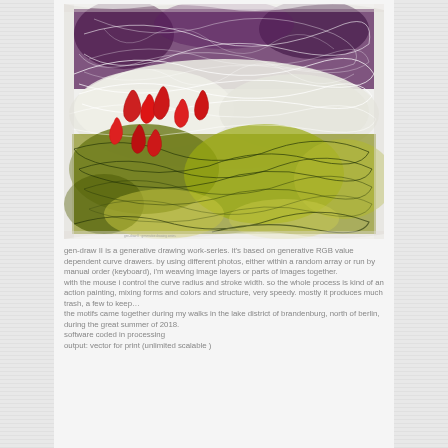[Figure (illustration): Generative drawing artwork showing layered landscape-like forms with interwoven lines in purple, white, green and yellow tones with red accent marks, resembling tangled fibres or threads over field and sky motifs.]
gen-draw II is a generative drawing work-series. it's based on generative RGB value dependent curve drawers. by using different photos, either within a random array or run by manual order (keyboard), i'm weaving image layers or parts of images together.
with the mouse i control the curve radius and stroke width. so the whole process is kind of an action painting, mixing forms and colors and structure, very speedy. mostly it produces much trash, a few to keep…
the motifs came together during my walks in the lake district of brandenburg, north of berlin, during the great summer of 2018.
software coded in processing
output: vector for print (unlimited scalable )